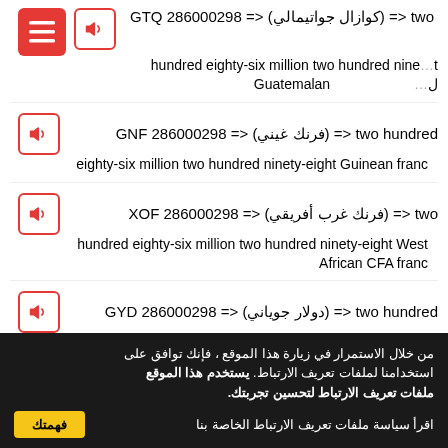286000298 GTQ <= (كوازال جواتيمالي) <= two hundred eighty-six million two hundred ninety-eight Guatemalan quetzal
286000298 GNF <= (فرنك غيني) <= two hundred eighty-six million two hundred ninety-eight Guinean franc
286000298 XOF <= (فرنك غرب أفريقي) <= two hundred eighty-six million two hundred ninety-eight West African CFA franc
286000298 GYD <= (دولار جوياني) <= two hundred eighty-six million two hundred ninety-eight Guyanese dollar
من خلال الاستمرار في زيارة هذا الموقع ، فإنك توافق على استخدامنا لملفات تعريف الارتباط. يستخدم هذا الموقع ملفات تعريف الارتباط لتحسين تجربتك. اقرأ سياسة ملفات تعريف الارتباط الخاصة بنا